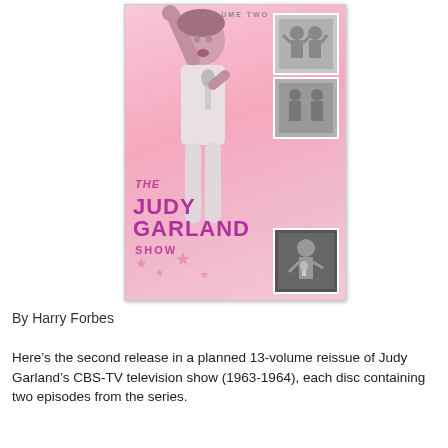[Figure (illustration): DVD cover for 'The Judy Garland Show, Volume Two' with pink background. Features a main black-and-white photo of Judy Garland singing into a microphone with her arm raised, plus three smaller inset photos. The title text reads 'VOLUME TWO' at top, and 'THE JUDY GARLAND SHOW' in large pink/purple text.]
By Harry Forbes
Here's the second release in a planned 13-volume reissue of Judy Garland's CBS-TV television show (1963-1964), each disc containing two episodes from the series.